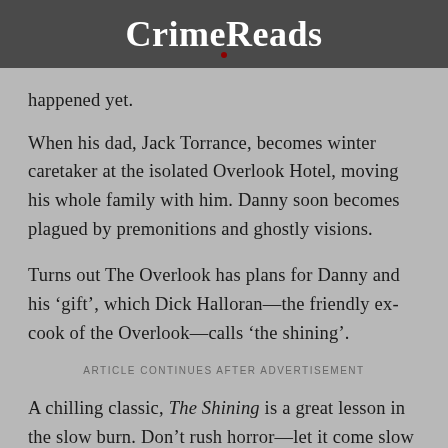CrimeReads
happened yet.
When his dad, Jack Torrance, becomes winter caretaker at the isolated Overlook Hotel, moving his whole family with him. Danny soon becomes plagued by premonitions and ghostly visions.
Turns out The Overlook has plans for Danny and his ‘gift’, which Dick Halloran—the friendly ex-cook of the Overlook—calls ‘the shining’.
ARTICLE CONTINUES AFTER ADVERTISEMENT
A chilling classic, The Shining is a great lesson in the slow burn. Don’t rush horror—let it come slow with